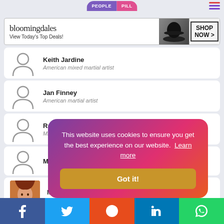[Figure (screenshot): People Pill tab navigation at top]
[Figure (other): Bloomingdale's ad banner: View Today's Top Deals! SHOP NOW >]
Keith Jardine - American mixed martial artist
Jan Finney - American martial artist
Raquel Pennington - Mixed martial artist
Marion Re... (partially obscured)
Miesha Ta... - American mix... (partially obscured)
This website uses cookies to ensure you get the best experience on our website. Learn more
Got it!
[Figure (other): Social media share bar: Facebook, Twitter, Reddit, LinkedIn, WhatsApp]